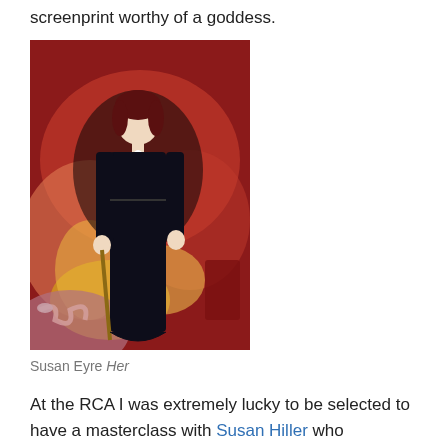screenprint worthy of a goddess.
[Figure (photo): A painting showing a woman in a long black dress and ankh cross necklace, standing in front of a swirling abstract background of red, pink, orange, and yellow forms with a snake visible in the lower left.]
Susan Eyre Her
At the RCA I was extremely lucky to be selected to have a masterclass with Susan Hiller who coincidently featured in